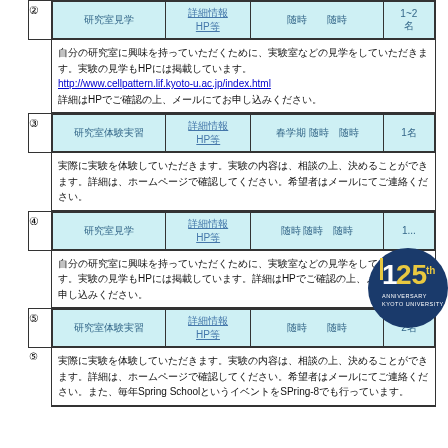|  | 講義名等 | 詳細情報 HP等 | 開催時期　場所 | 募集人数 |
| --- | --- | --- | --- | --- |
| ② | 研究室見学 | 詳細情報 HP等 | 随時　　随時 | 1~2 名 |
| ②-desc | 自分の研究室に興味を持っていただくために、実験室などの見学をしていただきます。実験の見学もHPには掲載しています。
http://www.cellpattern.lif.kyoto-u.ac.jp/index.html
詳細はHPでご確認の上、メールにてお申し込みください。 |  |  |  |
| ③ | 研究室体験実習 | 詳細情報 HP等 | 春学期 随時　随時 | 1名 |
| ③-desc | 実際に実験を体験していただきます。実験の内容は、相談の上、決めることができます。詳細は、ホームページで確認してください。希望者はメールにてご連絡ください。 |  |  |  |
| ④ | 研究室見学 | 詳細情報 HP等 | 随時 随時　随時 | 1... |
| ④-desc | 自分の研究室に興味を持っていただくために、実験室などの見学をしていただきます。実験の見学もHPには掲載しています。詳細はHPでご確認の上、メールにてお申し込みください。 |  |  |  |
| ⑤ | 研究室体験実習 | 詳細情報 HP等 | 随時　　随時 | 2名 |
| ⑤-desc | 実際に実験を体験していただきます。実験の内容は、相談の上、決めることができます。詳細は、ホームページで確認してください。希望者はメールにてご連絡ください。また、毎年Spring SchoolというイベントをSPring-8でも行っています。 |  |  |  |
[Figure (logo): Kyoto University 125th Anniversary logo badge]